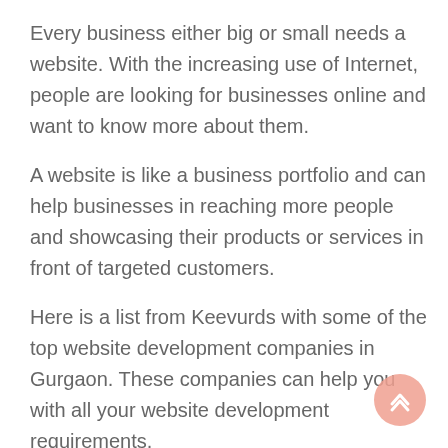Every business either big or small needs a website. With the increasing use of Internet, people are looking for businesses online and want to know more about them.
A website is like a business portfolio and can help businesses in reaching more people and showcasing their products or services in front of targeted customers.
Here is a list from Keevurds with some of the top website development companies in Gurgaon. These companies can help you with all your website development requirements.